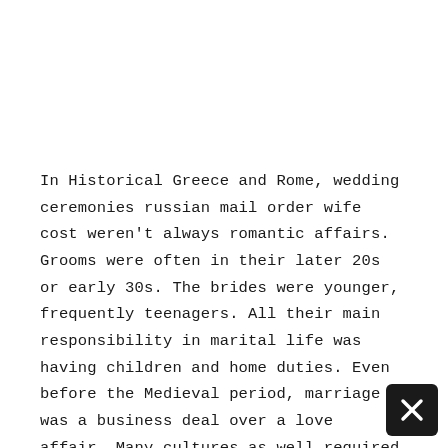In Historical Greece and Rome, wedding ceremonies russian mail order wife cost weren't always romantic affairs. Grooms were often in their later 20s or early 30s. The brides were younger, frequently teenagers. All their main responsibility in marital life was having children and home duties. Even before the Medieval period, marriage was a business deal over a love affair. Many cultures as well required